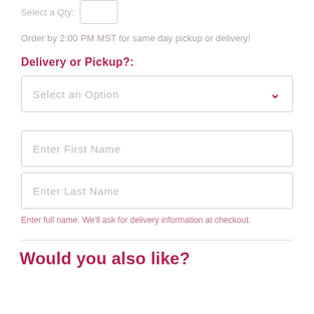Select a Qty:  [input box]
Order by 2:00 PM MST for same day pickup or delivery!
Delivery or Pickup?:
Select an Option
Enter First Name
Enter Last Name
Enter full name. We'll ask for delivery information at checkout.
Would you also like?